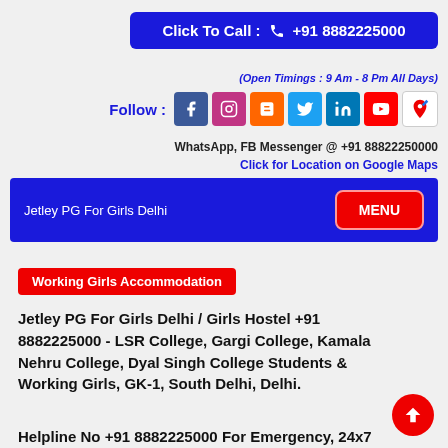Click To Call : +91 8882225000
(Open Timings : 9 Am - 8 Pm All Days)
Follow : [Facebook] [Instagram] [Blogger] [Twitter] [LinkedIn] [YouTube] [Google Maps]
WhatsApp, FB Messenger @ +91 88822250000
Click for Location on Google Maps
Jetley PG For Girls Delhi
MENU
Working Girls Accommodation
Jetley PG For Girls Delhi / Girls Hostel +91 8882225000 - LSR College, Gargi College, Kamala Nehru College, Dyal Singh College Students & Working Girls, GK-1, South Delhi, Delhi.
Helpline No +91 8882225000 For Emergency, 24x7